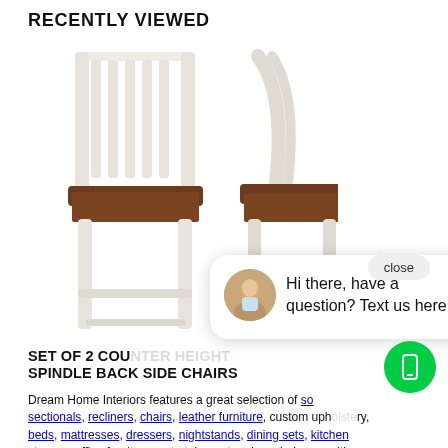RECENTLY VIEWED
[Figure (photo): Two white wood bar stools/counter height chairs with dark brown seats shown from front and side angles. White spindle back design with footrest rail.]
[Figure (screenshot): Chat bubble overlay with avatar image of person and text: Hi there, have a question? Text us here. Close button in top right corner.]
SET OF 2 COU
SPINDLE BACK SIDE CHAIRS
Dream Home Interiors features a great selection of sofas, sectionals, recliners, chairs, leather furniture, custom upholstery, beds, mattresses, dressers, nightstands, dining sets, kitchen storage, office furniture, entertainment and can help you with